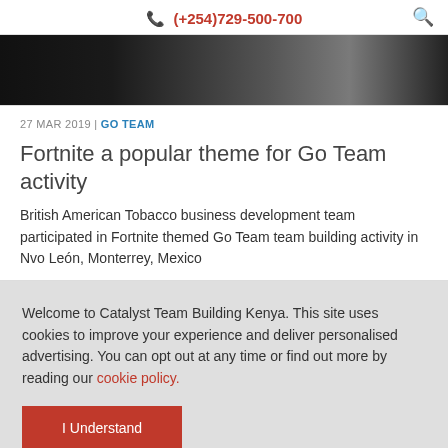(+254)729-500-700
[Figure (photo): Dark hero image showing people in a team building activity, partially cropped at the top]
27 MAR 2019 | GO TEAM
Fortnite a popular theme for Go Team activity
British American Tobacco business development team participated in Fortnite themed Go Team team building activity in Nvo León, Monterrey, Mexico
Welcome to Catalyst Team Building Kenya. This site uses cookies to improve your experience and deliver personalised advertising. You can opt out at any time or find out more by reading our cookie policy.
I Understand